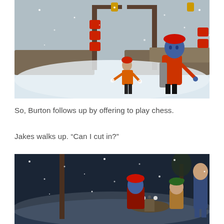[Figure (screenshot): Screenshot from The Sims 4 Snowy Escape showing two Sim characters on a snowy ice rink. A blue-skinned Sim in a red beret and orange jacket is in the foreground, while another Sim in a red hat and orange jacket is in the background. Snow is falling and there are wooden pergola structures and red paper lanterns visible.]
So, Burton follows up by offering to play chess.
Jakes walks up. “Can I cut in?”
[Figure (screenshot): Screenshot from The Sims 4 Snowy Escape showing three Sim characters around a chess table at a snowy outdoor area. A blue-skinned Sim with a red beret sits at the table, another Sim in a green hat is seated nearby, and a third Sim in a blue outfit stands in the background. Snow is falling.]